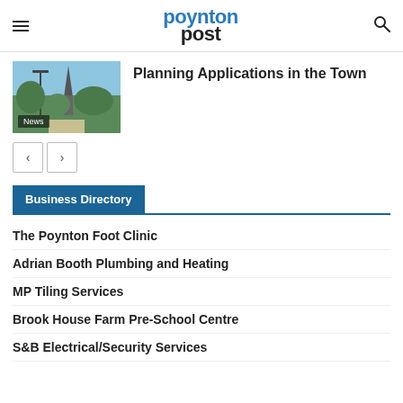poynton post
[Figure (photo): Church spire and street lamp with trees and blue sky, labelled News]
Planning Applications in the Town
Business Directory
The Poynton Foot Clinic
Adrian Booth Plumbing and Heating
MP Tiling Services
Brook House Farm Pre-School Centre
S&B Electrical/Security Services